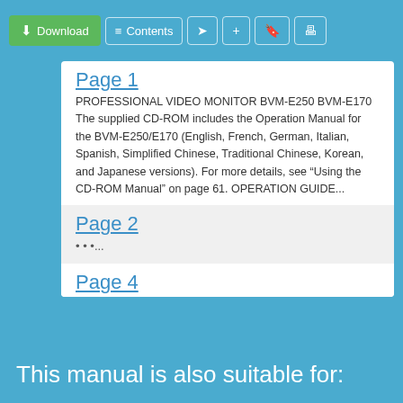Download | Contents | (share) | (+) | (bookmark) | (print)
Page 1
PROFESSIONAL VIDEO MONITOR BVM-E250 BVM-E170 The supplied CD-ROM includes the Operation Manual for the BVM-E250/E170 (English, French, German, Italian, Spanish, Simplified Chinese, Traditional Chinese, Korean, and Japanese versions). For more details, see “Using the CD-ROM Manual” on page 61. OPERATION GUIDE...
Page 2
• • •...
Page 4
•...
Page 5
• • • • • • •...
This manual is also suitable for: